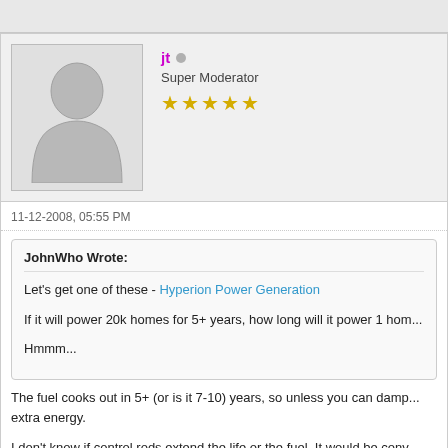[Figure (illustration): User avatar placeholder showing a grey silhouette of a person on a light grey background]
jt  Super Moderator ★★★★★
11-12-2008, 05:55 PM
JohnWho Wrote:
Let's get one of these - Hyperion Power Generation
If it will power 20k homes for 5+ years, how long will it power 1 hom...
Hmmm...
The fuel cooks out in 5+ (or is it 7-10) years, so unless you can damp... extra energy.

I don't know if control rods extend the life or the fuel. It would be conv...